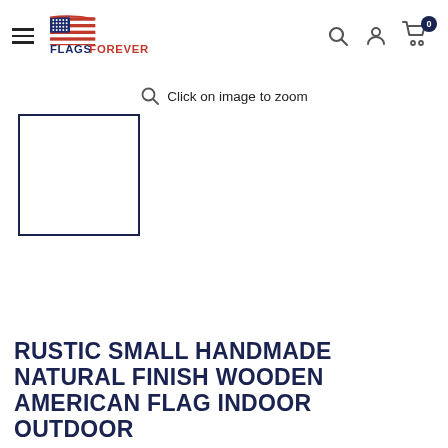Flags Forever — navigation header with search, user, and cart icons
Click on image to zoom
[Figure (photo): Empty product image placeholder box with dark navy border]
RUSTIC SMALL HANDMADE NATURAL FINISH WOODEN AMERICAN FLAG INDOOR OUTDOOR